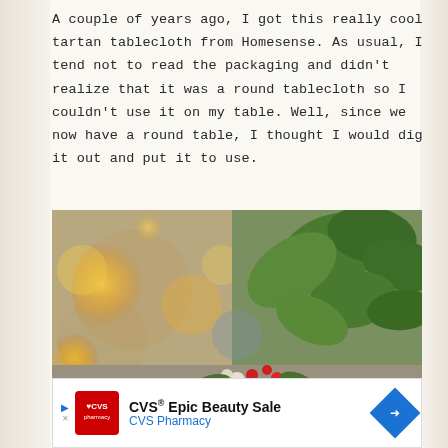A couple of years ago, I got this really cool tartan tablecloth from Homesense. As usual, I tend not to read the packaging and didn't realize that it was a round tablecloth so I couldn't use it on my table. Well, since we now have a round table, I thought I would dig it out and put it to use.
[Figure (photo): Blurred bokeh photo showing golden bokeh lights on the left (likely Christmas lights) and green plant leaves on the right, with some red and white floral elements at the bottom center.]
[Figure (other): Advertisement banner: CVS Epic Beauty Sale - CVS Pharmacy, with CVS logo in red square and blue diamond arrow icon on the right.]